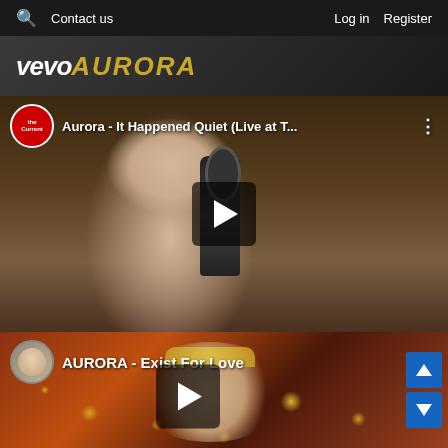Contact us | Log in | Register
[Figure (screenshot): Vevo Aurora header banner with yellow stylized AURORA text]
[Figure (screenshot): Video thumbnail: Aurora - It Happened Quiet (Live at T...) with play button, The Current channel badge, and more options button]
[Figure (screenshot): Video thumbnail: AURORA - Exist For Love with play button, aurora avatar, and more options button. Navigation scroll buttons (up/down) on right side.]